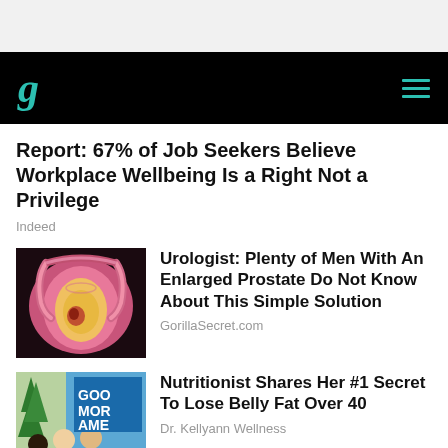g (Glassdoor logo) with hamburger menu
Report: 67% of Job Seekers Believe Workplace Wellbeing Is a Right Not a Privilege
Indeed
[Figure (illustration): Medical illustration of enlarged prostate anatomy, cross-section with pink and yellow tones]
Urologist: Plenty of Men With An Enlarged Prostate Do Not Know About This Simple Solution
GorillaSecret.com
[Figure (photo): Good Morning America TV show screenshot with three women hosts in studio]
Nutritionist Shares Her #1 Secret To Lose Belly Fat Over 40
Dr. Kellyann Wellness